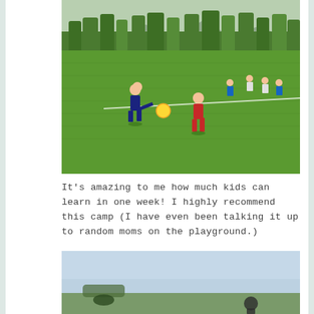[Figure (photo): Children playing soccer on a green grass field with yellow ball, trees and mountains in background, sunny day]
It's amazing to me how much kids can learn in one week! I highly recommend this camp (I have even been talking it up to random moms on the playground.)
[Figure (photo): Outdoor scene with hazy sky and landscape, partial view of people]